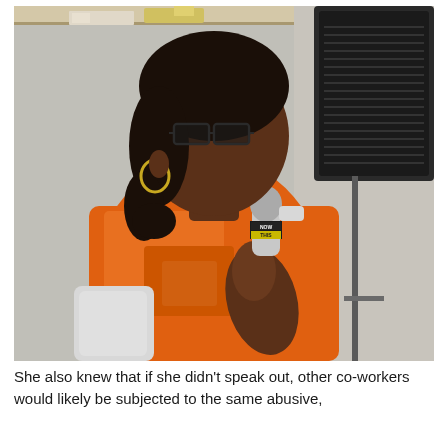[Figure (photo): A Black woman wearing an orange t-shirt and glasses, holding a microphone with a 'NOW THIS' logo, speaking at an event. A large speaker on a stand is visible behind her to the right.]
She also knew that if she didn't speak out, other co-workers would likely be subjected to the same abusive, humiliating, or unjust conditions that she had to deal with.